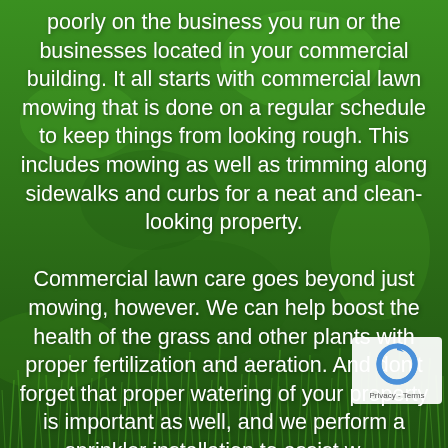[Figure (photo): Green grass lawn background filling the entire page]
poorly on the business you run or the businesses located in your commercial building. It all starts with commercial lawn mowing that is done on a regular schedule to keep things from looking rough. This includes mowing as well as trimming along sidewalks and curbs for a neat and clean-looking property.

Commercial lawn care goes beyond just mowing, however. We can help boost the health of the grass and other plants with proper fertilization and aeration. And don't forget that proper watering of your property is important as well, and we perform a sprinkler installation to assist with automatic watering of the plants to keep them
[Figure (logo): reCAPTCHA badge with circular arrow logo and Privacy - Terms text]